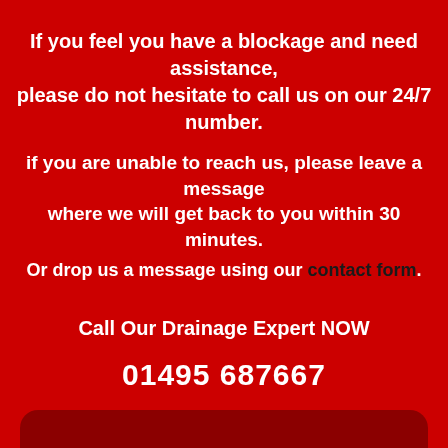If you feel you have a blockage and need assistance, please do not hesitate to call us on our 24/7 number.
if you are unable to reach us, please leave a message where we will get back to you within 30 minutes.
Or drop us a message using our contact form.
Call Our Drainage Expert NOW
01495 687667